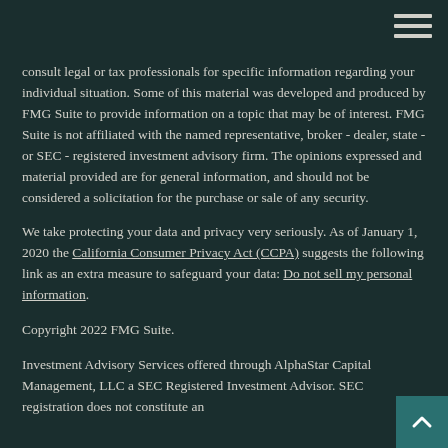consult legal or tax professionals for specific information regarding your individual situation. Some of this material was developed and produced by FMG Suite to provide information on a topic that may be of interest. FMG Suite is not affiliated with the named representative, broker - dealer, state - or SEC - registered investment advisory firm. The opinions expressed and material provided are for general information, and should not be considered a solicitation for the purchase or sale of any security.
We take protecting your data and privacy very seriously. As of January 1, 2020 the California Consumer Privacy Act (CCPA) suggests the following link as an extra measure to safeguard your data: Do not sell my personal information.
Copyright 2022 FMG Suite.
Investment Advisory Services offered through AlphaStar Capital Management, LLC a SEC Registered Investment Advisor. SEC registration does not constitute an